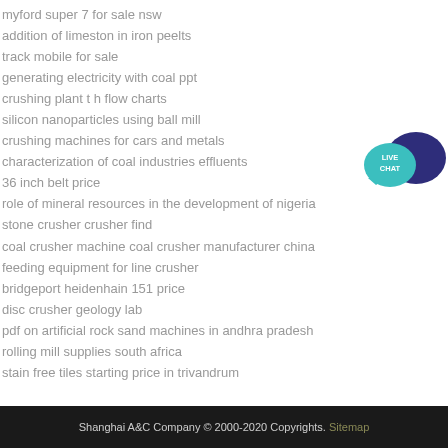myford super 7 for sale nsw
addition of limeston in iron peelts
track mobile for sale
generating electricity with coal ppt
crushing plant t h flow charts
silicon nanoparticles using ball mill
crushing machines for cars and metals
characterization of coal industries effluents
36 inch belt price
role of mineral resources in the development of nigeria
stone crusher crusher find
coal crusher machine coal crusher manufacturer china
feeding equipment for line crusher
bridgeport heidenhain 151 price
disc crusher geology lab
pdf on artificial rock sand machines in andhra pradesh
rolling mill supplies south africa
stain free tiles starting price in trivandrum
[Figure (illustration): Live Chat widget with teal speech bubble and dark blue speech bubble, text says LIVE CHAT]
Shanghai A&C Company © 2000-2020 Copyrights. Sitemap